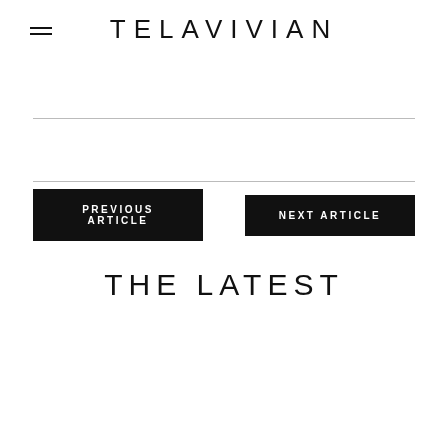TELAVIVIAN
PREVIOUS ARTICLE
NEXT ARTICLE
THE LATEST